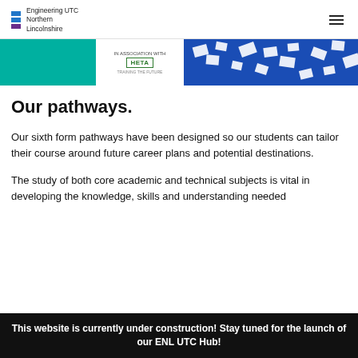Engineering UTC Northern Lincolnshire
[Figure (illustration): Banner strip showing teal block, HETA logo in association with text, and blue block with scattered white rectangle shapes]
Our pathways.
Our sixth form pathways have been designed so our students can tailor their course around future career plans and potential destinations.
The study of both core academic and technical subjects is vital in developing the knowledge, skills and understanding needed
This website is currently under construction! Stay tuned for the launch of our ENL UTC Hub!